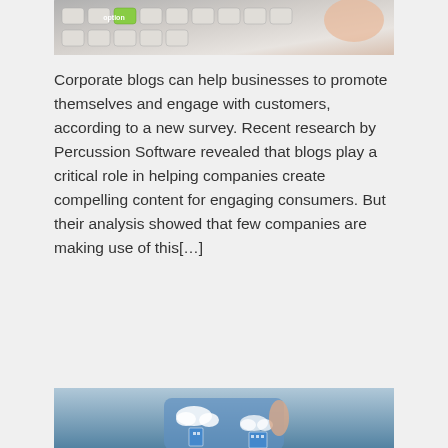[Figure (photo): Close-up photo of a keyboard with a green key, fingers visible]
Corporate blogs can help businesses to promote themselves and engage with customers, according to a new survey. Recent research by Percussion Software revealed that blogs play a critical role in helping companies create compelling content for engaging consumers. But their analysis showed that few companies are making use of this[…]
Read More »
Leeds business leaders to get a taste of the future
Posted at March 31, 2017, in News and blogs
[Figure (photo): Person in blue shirt holding small cloud and building icons, futuristic business concept]